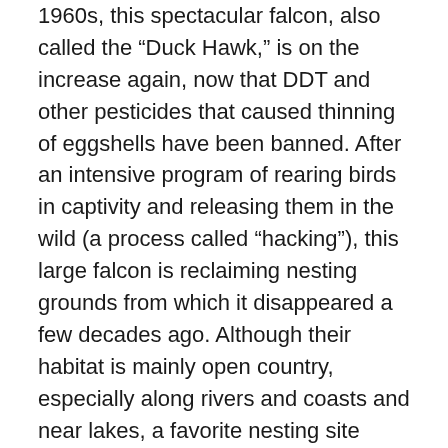1960s, this spectacular falcon, also called the “Duck Hawk,” is on the increase again, now that DDT and other pesticides that caused thinning of eggshells have been banned. After an intensive program of rearing birds in captivity and releasing them in the wild (a process called “hacking”), this large falcon is reclaiming nesting grounds from which it disappeared a few decades ago. Although their habitat is mainly open country, especially along rivers and coasts and near lakes, a favorite nesting site nowadays is a tall building or bridge in a city. These urban Peregrines subsist mainly on pigeons.

Since 1989, pairs of reintroduced Peregrines have nested high atop the Radisson Hotel on Portage Avenue in downtown Winnipeg. Characteristically, Peregrines return regularly to favourite nesting sites. One pair after another has used the same spot in England since 1243. Since